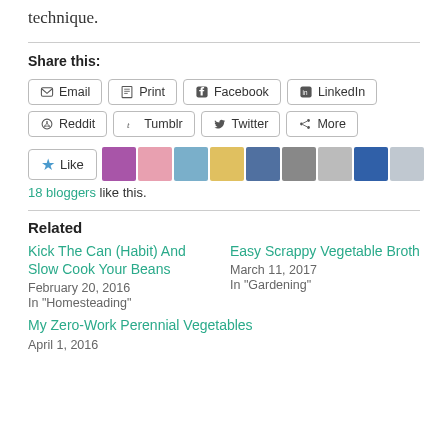technique.
Share this:
Email  Print  Facebook  LinkedIn  Reddit  Tumblr  Twitter  More
[Figure (other): Like button with 9 blogger avatars]
18 bloggers like this.
Related
Kick The Can (Habit) And Slow Cook Your Beans
February 20, 2016
In "Homesteading"
Easy Scrappy Vegetable Broth
March 11, 2017
In "Gardening"
My Zero-Work Perennial Vegetables
April 1, 2016